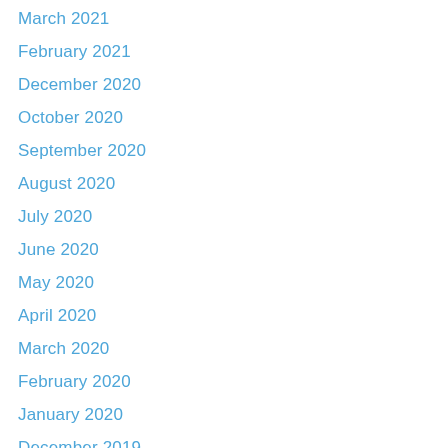March 2021
February 2021
December 2020
October 2020
September 2020
August 2020
July 2020
June 2020
May 2020
April 2020
March 2020
February 2020
January 2020
December 2019
November 2019
October 2019
September 2019
July 2019
June 2019
May 2019